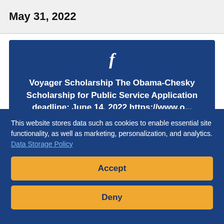May 31, 2022
[Figure (screenshot): Facebook post card on dark blue background showing Voyager Scholarship - The Obama-Chesky Scholarship for Public Service. Application deadline: June 14, 2022. URL partially shown: https://www.o...]
This website stores data such as cookies to enable essential site functionality, as well as marketing, personalization, and analytics. Data Storage Policy
Accept
Deny